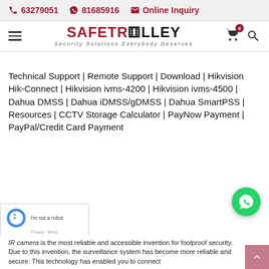📞 63279051  💬 81685916  ✉ Online Inquiry
[Figure (logo): SafeTrolley logo with tagline 'Security Solutions Everybody Deserves']
Technical Support | Remote Support | Download | Hikvision Hik-Connect | Hikvision ivms-4200 | Hikvision ivms-4500 | Dahua DMSS | Dahua iDMSS/gDMSS | Dahua SmartPSS | Resources | CCTV Storage Calculator | PayNow Payment | PayPal/Credit Card Payment
IR camera is the most reliable and accessible invention for foolproof security. Due to this invention, the surveillance system has become more reliable and secure. This technology has enabled you to connect